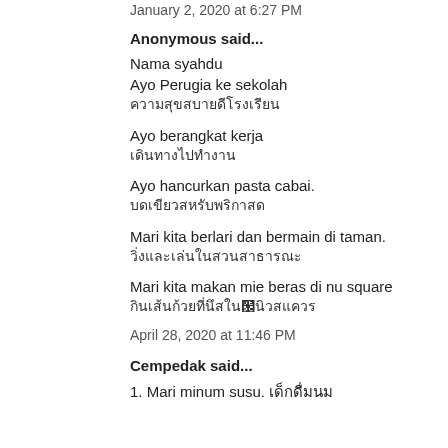January 2, 2020 at 6:27 PM
Anonymous said...
Nama syahdu
Ayo Perugia ke sekolah
[Thai text]
Ayo berangkat kerja
[Thai text]
Ayo hancurkan pasta cabai.
[Thai text]
Mari kita berlari dan bermain di taman.
[Thai text]
Mari kita makan mie beras di nu square
[Thai text]
April 28, 2020 at 11:46 PM
Cempedak said...
1. Mari minum susu. [Thai text]